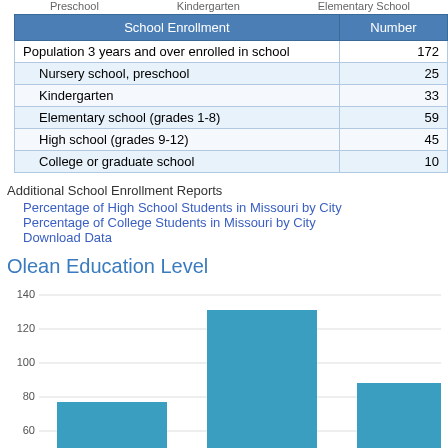Preschool    Kindergarten    Elementary School
| School Enrollment | Number |
| --- | --- |
| Population 3 years and over enrolled in school | 172 |
| Nursery school, preschool | 25 |
| Kindergarten | 33 |
| Elementary school (grades 1-8) | 59 |
| High school (grades 9-12) | 45 |
| College or graduate school | 10 |
Additional School Enrollment Reports
Percentage of High School Students in Missouri by City
Percentage of College Students in Missouri by City
Download Data
Olean Education Level
[Figure (bar-chart): Olean Education Level]